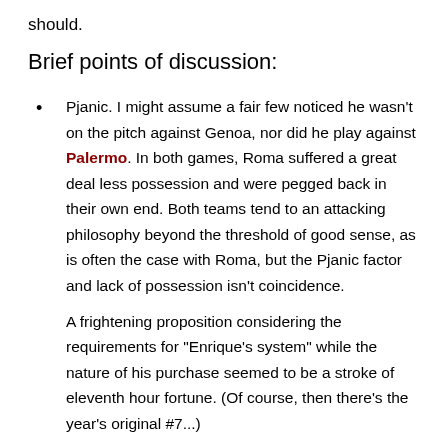should.
Brief points of discussion:
Pjanic. I might assume a fair few noticed he wasn't on the pitch against Genoa, nor did he play against Palermo. In both games, Roma suffered a great deal less possession and were pegged back in their own end. Both teams tend to an attacking philosophy beyond the threshold of good sense, as is often the case with Roma, but the Pjanic factor and lack of possession isn't coincidence.

A frightening proposition considering the requirements for "Enrique's system" while the nature of his purchase seemed to be a stroke of eleventh hour fortune. (Of course, then there's the year's original #7...)
Someone invoke Kjaer's buyout clause before he sucks again.